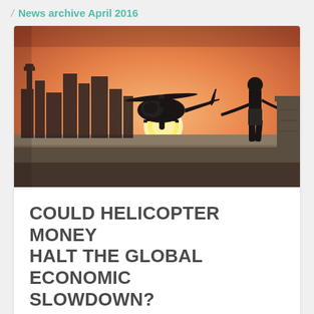News archive April 2016
[Figure (photo): Helicopter flying in front of a sunset over an urban skyline, with a person silhouetted on a seawall in the foreground right.]
COULD HELICOPTER MONEY HALT THE GLOBAL ECONOMIC SLOWDOWN?